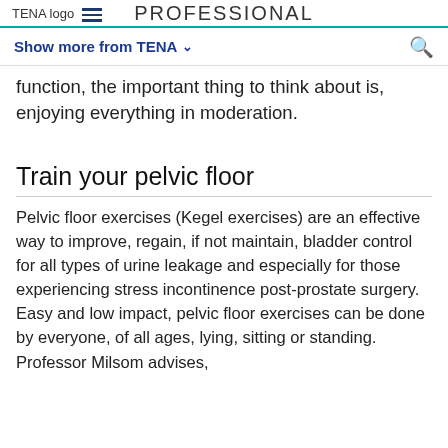TENA logo — PROFESSIONAL
Show more from TENA
function, the important thing to think about is, enjoying everything in moderation.
Train your pelvic floor
Pelvic floor exercises (Kegel exercises) are an effective way to improve, regain, if not maintain, bladder control for all types of urine leakage and especially for those experiencing stress incontinence post-prostate surgery. Easy and low impact, pelvic floor exercises can be done by everyone, of all ages, lying, sitting or standing. Professor Milsom advises,